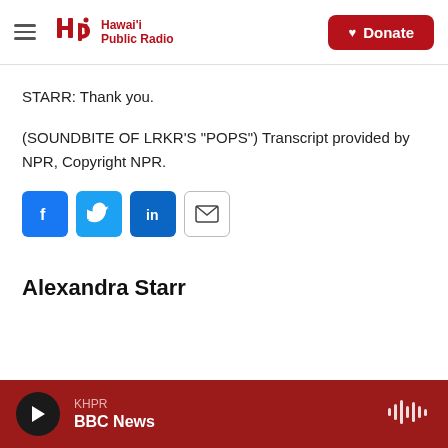Hawai'i Public Radio — Donate
STARR: Thank you.
(SOUNDBITE OF LRKR'S "POPS") Transcript provided by NPR, Copyright NPR.
[Figure (other): Social sharing icons: Facebook, Twitter, LinkedIn, Email]
Alexandra Starr
KHPR BBC News